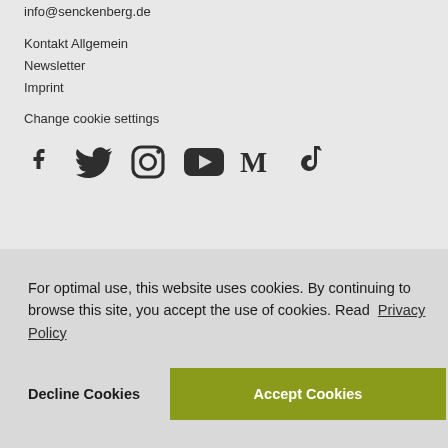info@senckenberg.de
Kontakt Allgemein
Newsletter
Imprint
Change cookie settings
[Figure (other): Social media icons: Facebook, Twitter, Instagram, YouTube, Medium, TikTok]
For optimal use, this website uses cookies. By continuing to browse this site, you accept the use of cookies. Read Privacy Policy
Decline Cookies
Accept Cookies